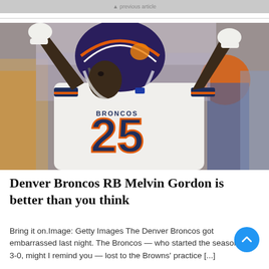[Figure (photo): Partial top strip of a previous article image, cropped at top of page]
[Figure (photo): Denver Broncos running back wearing jersey number 25 (Melvin Gordon) in a white Broncos uniform with navy and orange accents, hands raised above head wearing purple helmet, with blurred crowd and an orange-hatted figure in background]
Denver Broncos RB Melvin Gordon is better than you think
Bring it on.Image: Getty Images The Denver Broncos got embarrassed last night. The Broncos — who started the season 3-0, might I remind you — lost to the Browns' practice [...]